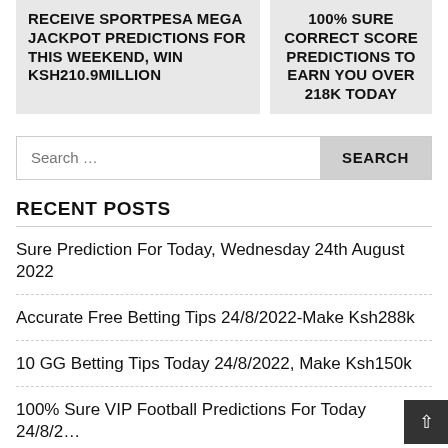RECEIVE SPORTPESA MEGA JACKPOT PREDICTIONS FOR THIS WEEKEND, WIN KSH210.9MILLION
100% SURE CORRECT SCORE PREDICTIONS TO EARN YOU OVER 218K TODAY
Search …
RECENT POSTS
Sure Prediction For Today, Wednesday 24th August 2022
Accurate Free Betting Tips 24/8/2022-Make Ksh288k
10 GG Betting Tips Today 24/8/2022, Make Ksh150k
100% Sure VIP Football Predictions For Today 24/8/2…
100% Sure Correct Score predictions to Earn you Over…